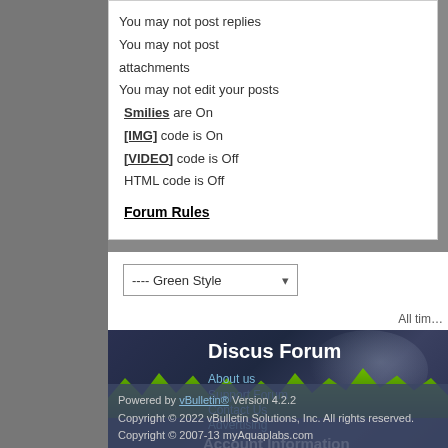You may not post replies
You may not post attachments
You may not edit your posts
Smilies are On
[IMG] code is On
[VIDEO] code is Off
HTML code is Off
Forum Rules
---- Green Style
All time
Discus Forum
About us
Support Forum
Contact Us
Advertising
Account Information
Register for Free
Powered by vBulletin® Version 4.2.2 Copyright © 2022 vBulletin Solutions, Inc. All rights reserved. Copyright © 2007-13 myAquaplabs.com